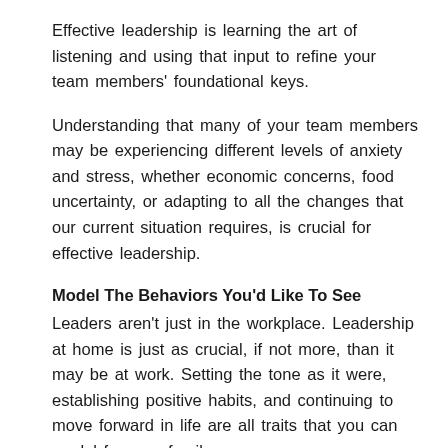Effective leadership is learning the art of listening and using that input to refine your team members' foundational keys.
Understanding that many of your team members may be experiencing different levels of anxiety and stress, whether economic concerns, food uncertainty, or adapting to all the changes that our current situation requires, is crucial for effective leadership.
Model The Behaviors You'd Like To See
Leaders aren't just in the workplace. Leadership at home is just as crucial, if not more, than it may be at work. Setting the tone as it were, establishing positive habits, and continuing to move forward in life are all traits that you can model for your family.
One of the specific areas you can model positive